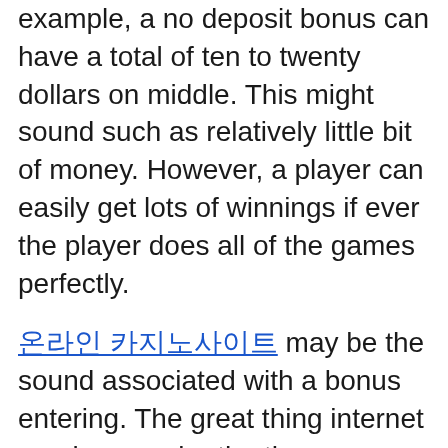example, a no deposit bonus can have a total of ten to twenty dollars on middle. This might sound such as relatively little bit of money. However, a player can easily get lots of winnings if ever the player does all of the games perfectly.
온라인 카지노사이트 may be the sound associated with a bonus entering. The great thing internet gaming may be the there are quite many online casinos that seem for approaches to attract clients to play their competitions. That is why give bonuses, furthermore is certainly an encouraging idea.
The most important factor before you play any Online casino game is knowing what is best game perfect for you. It is natural to be able to person, as an example is an army, before he ought to go to a war, he should be inclined and trained. Like also in